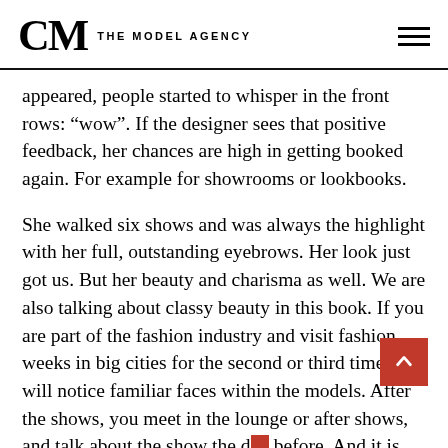CM THE MODEL AGENCY
appeared, people started to whisper in the front rows: “wow”. If the designer sees that positive feedback, her chances are high in getting booked again. For example for showrooms or lookbooks.
She walked six shows and was always the highlight with her full, outstanding eyebrows. Her look just got us. But her beauty and charisma as well. We are also talking about classy beauty in this book. If you are part of the fashion industry and visit fashion weeks in big cities for the second or third time, you will notice familiar faces within the models. After the shows, you meet in the lounge or after shows, and talk about the show the day before. And it is always about one thing: entertainment, collections, models and designers. The same effect has advertising. Fans of brands know every campaign and